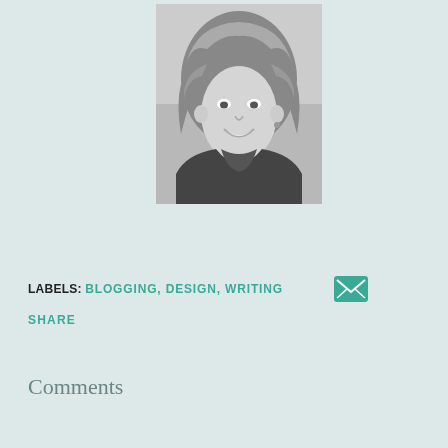[Figure (photo): Black and white headshot photo of a smiling woman with wavy blonde hair, wearing a dark jacket, outdoors with a light sky background.]
LABELS: BLOGGING, DESIGN, WRITING
SHARE
Comments